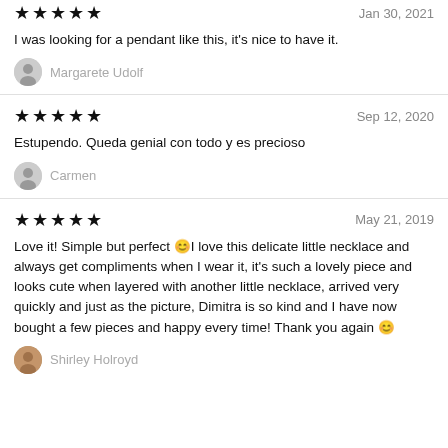★★★★★   Jan 30, 2021
I was looking for a pendant like this, it's nice to have it.
Margarete Udolf
★★★★★   Sep 12, 2020
Estupendo. Queda genial con todo y es precioso
Carmen
★★★★★   May 21, 2019
Love it! Simple but perfect 🙂I love this delicate little necklace and always get compliments when I wear it, it's such a lovely piece and looks cute when layered with another little necklace, arrived very quickly and just as the picture, Dimitra is so kind and I have now bought a few pieces and happy every time! Thank you again 🙂
Shirley Holroyd